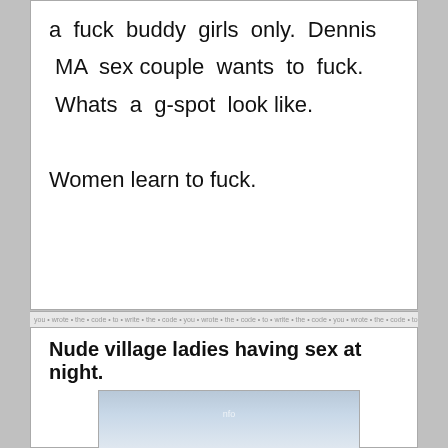a fuck buddy girls only. Dennis MA sex couple wants to fuck. Whats a g-spot look like.

Women learn to fuck.
Nude village ladies having sex at night.
[Figure (photo): Photo of a blonde woman wearing glasses against a blue background, with a watermark overlay.]